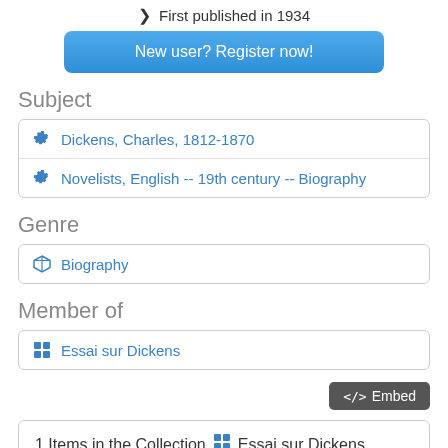First published in 1934
[Figure (screenshot): Blue rounded button labeled 'New user? Register now!']
Subject
Dickens, Charles, 1812-1870
Novelists, English -- 19th century -- Biography
Genre
Biography
Member of
Essai sur Dickens
[Figure (screenshot): Gray button labeled '</> Embed']
1 Items in the Collection  Essai sur Dickens